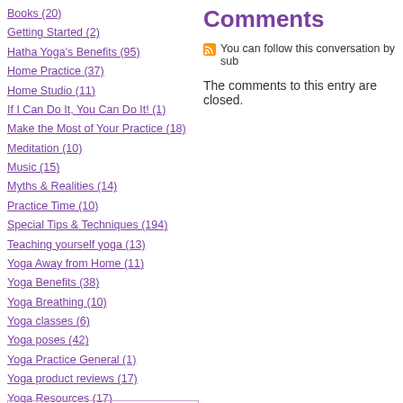Books (20)
Getting Started (2)
Hatha Yoga's Benefits (95)
Home Practice (37)
Home Studio (11)
If I Can Do It, You Can Do It! (1)
Make the Most of Your Practice (18)
Meditation (10)
Music (15)
Myths & Realities (14)
Practice Time (10)
Special Tips & Techniques (194)
Teaching yourself yoga (13)
Yoga Away from Home (11)
Yoga Benefits (38)
Yoga Breathing (10)
Yoga classes (6)
Yoga poses (42)
Yoga Practice General (1)
Yoga product reviews (17)
Yoga Resources (17)
Yoga Viewpoints (3)
Comments
You can follow this conversation by sub
The comments to this entry are closed.
Blog powered by Typepad